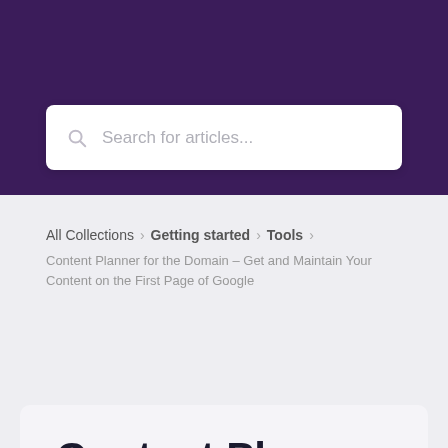[Figure (screenshot): Purple header background with search bar]
Search for articles...
All Collections > Getting started > Tools >
Content Planner for the Domain – Get and Maintain Your Content on the First Page of Google
Content Planner for the Domain – Get and Maintain Your Content